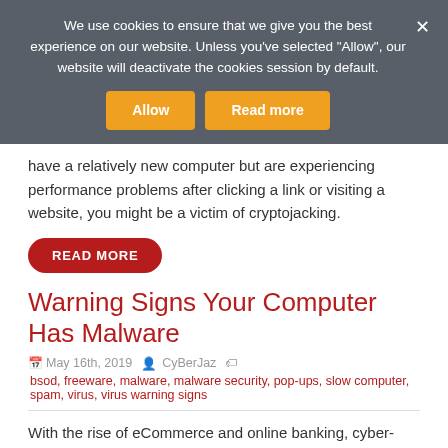We use cookies to ensure that we give you the best experience on our website. Unless you've selected "Allow", our website will deactivate the cookies session by default.
have a relatively new computer but are experiencing performance problems after clicking a link or visiting a website, you might be a victim of cryptojacking.
READ MORE
Warning Signs Your Computer Has Malware
May 16th, 2019   CyBerJaz   bsod, freeware, malware, malware security, pop-ups, slow computer, spam, virus, virus warning signs
With the rise of eCommerce and online banking, cyber-crime